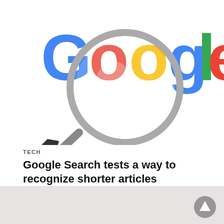[Figure (illustration): Google logo with a magnifying glass overlay on white background]
TECH
Google Search tests a way to recognize shorter articles
Google Search he has a naturake knack for keeping his search results useful and up-to-date,...
7 hours ago
[Figure (logo): Motorola logo (stylized M) on light grey background, partially visible]